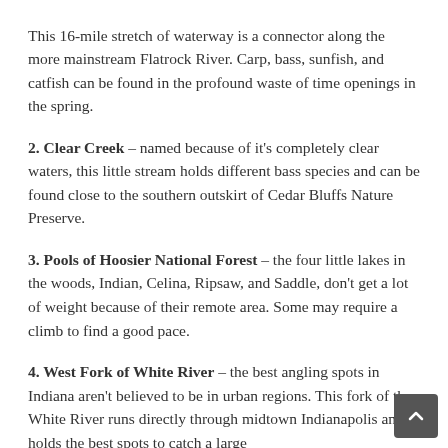This 16-mile stretch of waterway is a connector along the more mainstream Flatrock River. Carp, bass, sunfish, and catfish can be found in the profound waste of time openings in the spring.
2. Clear Creek – named because of it's completely clear waters, this little stream holds different bass species and can be found close to the southern outskirt of Cedar Bluffs Nature Preserve.
3. Pools of Hoosier National Forest – the four little lakes in the woods, Indian, Celina, Ripsaw, and Saddle, don't get a lot of weight because of their remote area. Some may require a climb to find a good pace.
4. West Fork of White River – the best angling spots in Indiana aren't believed to be in urban regions. This fork of the White River runs directly through midtown Indianapolis and holds the best spots to catch a large...